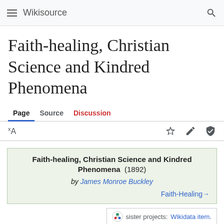Wikisource
Faith-healing, Christian Science and Kindred Phenomena
Page  Source  Discussion
Faith-healing, Christian Science and Kindred Phenomena (1892) by James Monroe Buckley  Faith-Healing→
sister projects: Wikidata item.
This work is incomplete. If you'd like to help expand it, see the